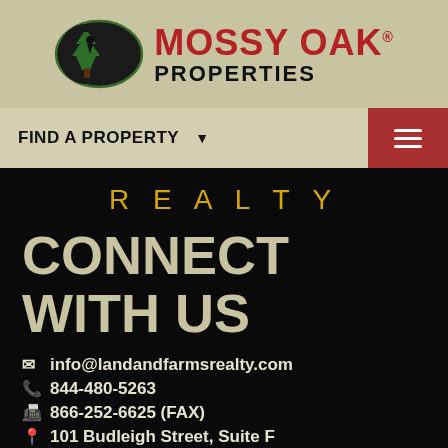[Figure (logo): Mossy Oak Properties logo with tree silhouette icon and brand name]
FIND A PROPERTY ▼
REALTY
CONNECT WITH US
info@landandfarmsrealty.com
844-480-5263
866-252-6625 (FAX)
101 Budleigh Street, Suite F